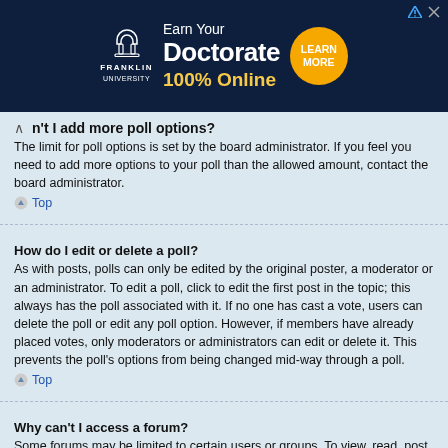[Figure (advertisement): Franklin University banner ad: Earn Your Doctorate 100% Online with Learn More button]
Why can't I add more poll options?
The limit for poll options is set by the board administrator. If you feel you need to add more options to your poll than the allowed amount, contact the board administrator.
Top
How do I edit or delete a poll?
As with posts, polls can only be edited by the original poster, a moderator or an administrator. To edit a poll, click to edit the first post in the topic; this always has the poll associated with it. If no one has cast a vote, users can delete the poll or edit any poll option. However, if members have already placed votes, only moderators or administrators can edit or delete it. This prevents the poll’s options from being changed mid-way through a poll.
Top
Why can't I access a forum?
Some forums may be limited to certain users or groups. To view, read, post or perform another action you may need special permissions. Contact a moderator or board administrator to grant you access.
Top